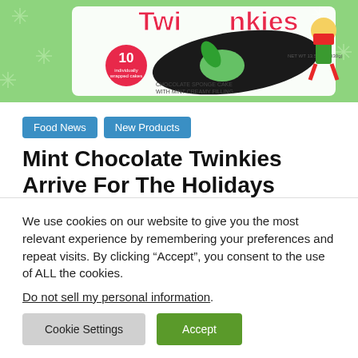[Figure (photo): Twinkies Mint Chocolate holiday box product photo on green sparkle background showing 10 individually wrapped cakes, chocolate sponge cake with mint creamy filling, with cartoon elf character]
Food News
New Products
Mint Chocolate Twinkies Arrive For The Holidays
November 4, 2019   All You Can Eat   0 Comments
We use cookies on our website to give you the most relevant experience by remembering your preferences and repeat visits. By clicking “Accept”, you consent to the use of ALL the cookies.
Do not sell my personal information.
Cookie Settings   Accept